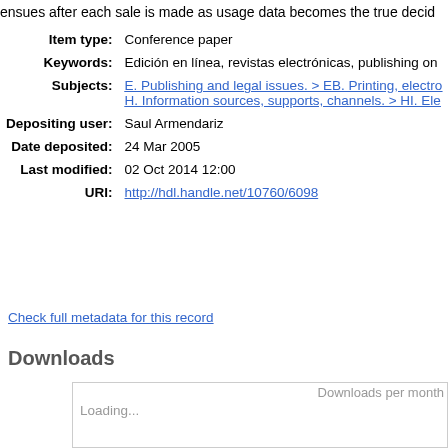ensues after each sale is made as usage data becomes the true deciding
| Field | Value |
| --- | --- |
| Item type: | Conference paper |
| Keywords: | Edición en línea, revistas electrónicas, publishing on |
| Subjects: | E. Publishing and legal issues. > EB. Printing, electro... H. Information sources, supports, channels. > HI. Ele... |
| Depositing user: | Saul Armendariz |
| Date deposited: | 24 Mar 2005 |
| Last modified: | 02 Oct 2014 12:00 |
| URI: | http://hdl.handle.net/10760/6098 |
Check full metadata for this record
Downloads
[Figure (other): Downloads per month chart loading box with 'Loading...' placeholder text]